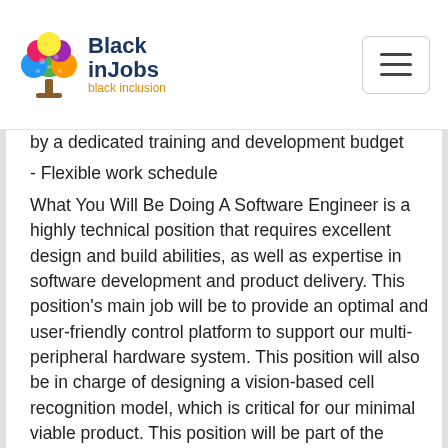Black inJobs — black inclusion
by a dedicated training and development budget
- Flexible work schedule
What You Will Be Doing A Software Engineer is a highly technical position that requires excellent design and build abilities, as well as expertise in software development and product delivery. This position's main job will be to provide an optimal and user-friendly control platform to support our multi-peripheral hardware system. This position will also be in charge of designing a vision-based cell recognition model, which is critical for our minimal viable product. This position will be part of the...